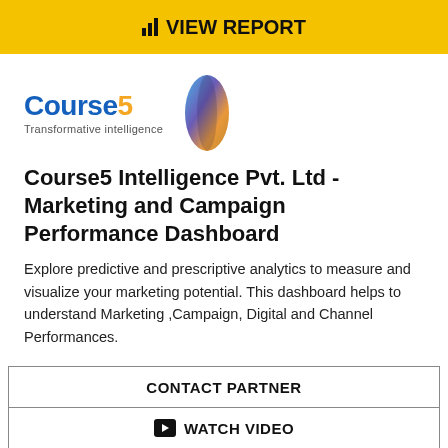VIEW REPORT
[Figure (logo): Course5 Intelligence logo with oval graphic and tagline Transformative intelligence]
Course5 Intelligence Pvt. Ltd - Marketing and Campaign Performance Dashboard
Explore predictive and prescriptive analytics to measure and visualize your marketing potential. This dashboard helps to understand Marketing ,Campaign, Digital and Channel Performances.
CONTACT PARTNER
WATCH VIDEO